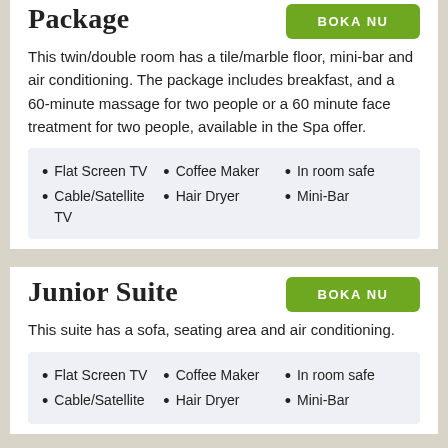Package
This twin/double room has a tile/marble floor, mini-bar and air conditioning. The package includes breakfast, and a 60-minute massage for two people or a 60 minute face treatment for two people, available in the Spa offer.
Flat Screen TV
Coffee Maker
In room safe
Cable/Satellite TV
Hair Dryer
Mini-Bar
Junior Suite
This suite has a sofa, seating area and air conditioning.
Flat Screen TV
Coffee Maker
In room safe
Cable/Satellite
Hair Dryer
Mini-Bar